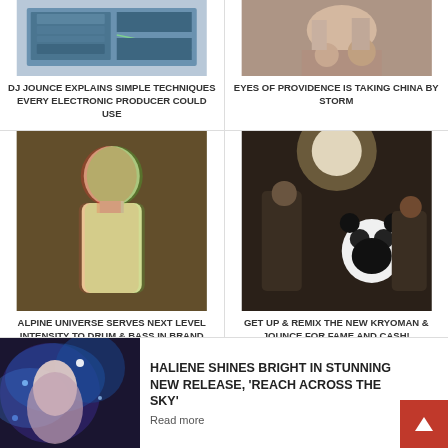[Figure (photo): Screenshot of music production software DAW interface]
DJ JOUNCE EXPLAINS SIMPLE TECHNIQUES EVERY ELECTRONIC PRODUCER COULD USE
[Figure (photo): Person DJing with turntables and equipment]
EYES OF PROVIDENCE IS TAKING CHINA BY STORM
[Figure (photo): Man in white turtleneck with glitch effect photo treatment]
ALPINE UNIVERSE SERVES NEXT LEVEL INTENSITY TO DRUM & BASS IN BRAND NEW VIDEO
[Figure (photo): Dark club scene with panda mascot costume character]
GET UP & REMIX THE NEW KRYOMAN & JOUNCE FOR FAME AND CASH!
[Figure (photo): Female singer with blue ethereal light effects]
HALIENE SHINES BRIGHT IN STUNNING NEW RELEASE, 'REACH ACROSS THE SKY'
Read more